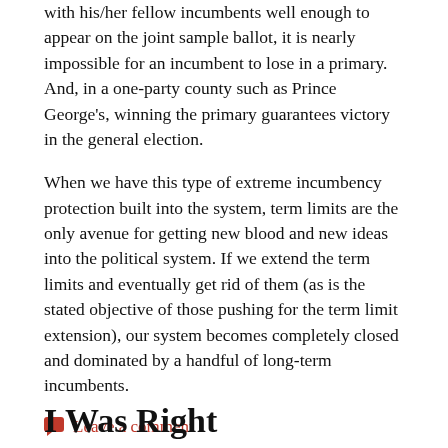with his/her fellow incumbents well enough to appear on the joint sample ballot, it is nearly impossible for an incumbent to lose in a primary. And, in a one-party county such as Prince George's, winning the primary guarantees victory in the general election.
When we have this type of extreme incumbency protection built into the system, term limits are the only avenue for getting new blood and new ideas into the political system. If we extend the term limits and eventually get rid of them (as is the stated objective of those pushing for the term limit extension), our system becomes completely closed and dominated by a handful of long-term incumbents.
Leave a comment
I Was Right